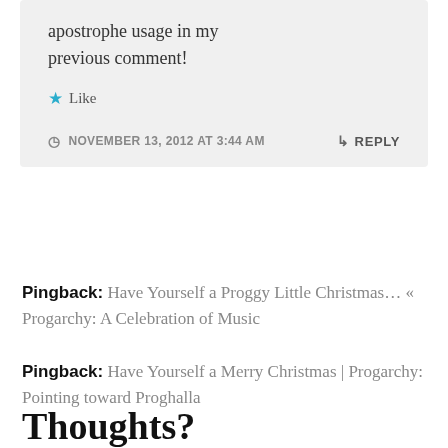apostrophe usage in my previous comment!
★ Like
NOVEMBER 13, 2012 AT 3:44 AM
↳ REPLY
Pingback: Have Yourself a Proggy Little Christmas… « Progarchy: A Celebration of Music
Pingback: Have Yourself a Merry Christmas | Progarchy: Pointing toward Proghalla
Thoughts?